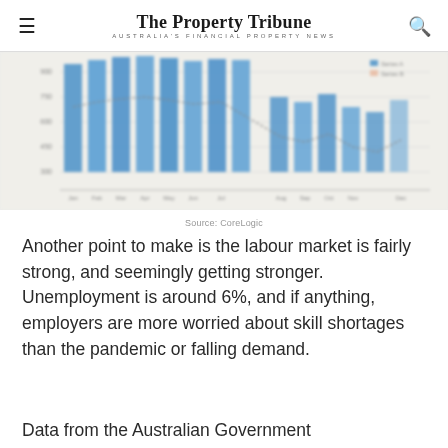The Property Tribune — AUSTRALIA'S FINANCIAL PROPERTY NEWS
[Figure (bar-chart): Partially visible bar chart showing property or economic data, blurred/cropped, sourced from CoreLogic]
Source: CoreLogic
Another point to make is the labour market is fairly strong, and seemingly getting stronger. Unemployment is around 6%, and if anything, employers are more worried about skill shortages than the pandemic or falling demand.
Data from the Australian Government